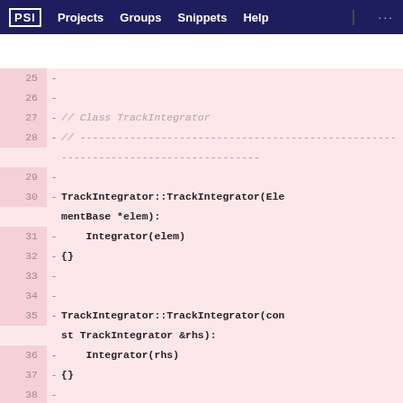PSI  Projects  Groups  Snippets  Help  ...
[Figure (screenshot): Code diff view showing lines 25-40 of a C++ source file with TrackIntegrator class constructors and destructor, all marked as removed (red background with minus signs).]